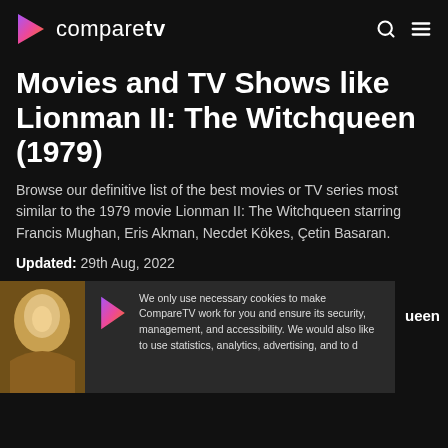compareTV
Movies and TV Shows like Lionman II: The Witchqueen (1979)
Browse our definitive list of the best movies or TV series most similar to the 1979 movie Lionman II: The Witchqueen starring Francis Mughan, Eris Akman, Necdet Kökes, Çetin Basaran.
Updated: 29th Aug, 2022
We only use necessary cookies to make CompareTV work for you and ensure its security, management, and accessibility. We would also like to use statistics, analytics, advertising, and to d...